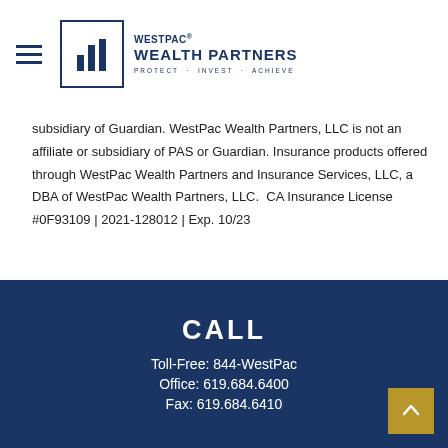WestPac® Wealth Partners — PROTECT · INVEST · ACHIEVE
subsidiary of Guardian. WestPac Wealth Partners, LLC is not an affiliate or subsidiary of PAS or Guardian. Insurance products offered through WestPac Wealth Partners and Insurance Services, LLC, a DBA of WestPac Wealth Partners, LLC.  CA Insurance License #0F93109 | 2021-128012 | Exp. 10/23
CALL
Toll-Free: 844-WestPac
Office: 619.684.6400
Fax: 619.684.6410